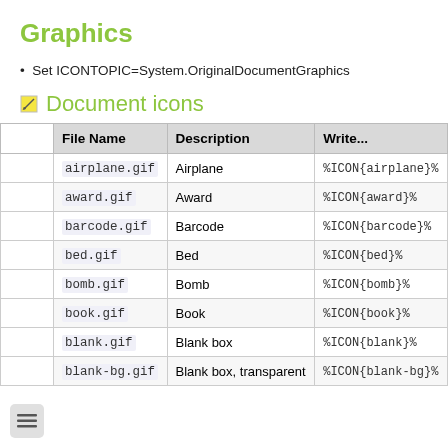Graphics
Set ICONTOPIC=System.OriginalDocumentGraphics
Document icons
|  | File Name | Description | Write... |
| --- | --- | --- | --- |
|  | airplane.gif | Airplane | %ICON{airplane}% |
|  | award.gif | Award | %ICON{award}% |
|  | barcode.gif | Barcode | %ICON{barcode}% |
|  | bed.gif | Bed | %ICON{bed}% |
|  | bomb.gif | Bomb | %ICON{bomb}% |
|  | book.gif | Book | %ICON{book}% |
|  | blank.gif | Blank box | %ICON{blank}% |
|  | blank-bg.gif | Blank box, transparent | %ICON{blank-bg}% |